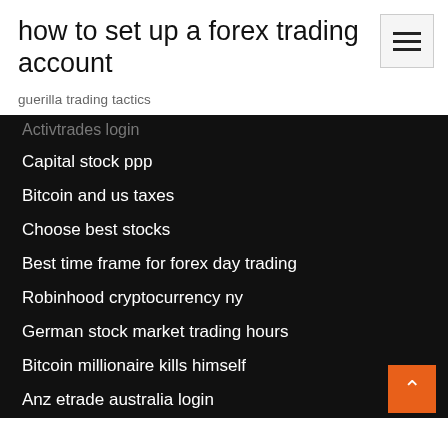how to set up a forex trading account
guerilla trading tactics
Activtrades login
Capital stock ppp
Bitcoin and us taxes
Choose best stocks
Best time frame for forex day trading
Robinhood cryptocurrency ny
German stock market trading hours
Bitcoin millionaire kills himself
Anz etrade australia login